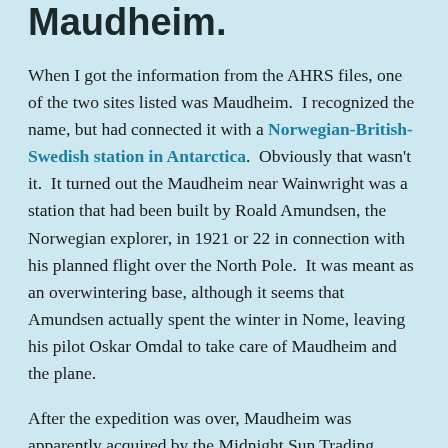Maudheim.
When I got the information from the AHRS files, one of the two sites listed was Maudheim.  I recognized the name, but had connected it with a Norwegian-British-Swedish station in Antarctica.  Obviously that wasn't it.  It turned out the Maudheim near Wainwright was a station that had been built by Roald Amundsen, the Norwegian explorer, in 1921 or 22 in connection with his planned flight over the North Pole.  It was meant as an overwintering base, although it seems that Amundsen actually spent the winter in Nome, leaving his pilot Oskar Omdal to take care of Maudheim and the plane.
After the expedition was over, Maudheim was apparently acquired by the Midnight Sun Trading Company, which seems to have dealt in coal from